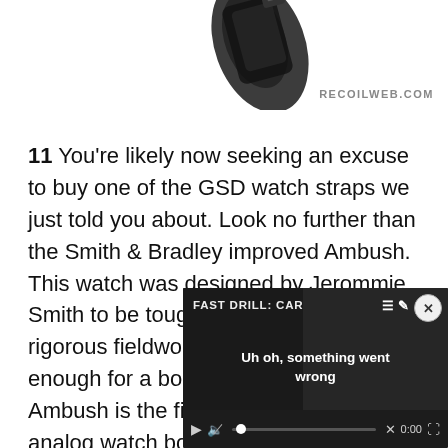[Figure (photo): Partial view of a dark tactical watch/wrist device at the top of the page, white background]
RECOILWEB.COM
11 You're likely now seeking an excuse to buy one of the GSD watch straps we just told you about. Look no further than the Smith & Bradley improved Ambush. This watch was designed by Jerommie Smith to be tough enough for the most rigorous fieldwork, while looking nice enough for a boardroom fray. The Ambush is the first of its kind, a digital analog watch born and raised in rural Illinois to be accurate, tough... timepiece is not just fashio... tool.
[Figure (screenshot): Video player overlay showing 'FAST DRILL: CAR' title with error message 'Uh oh, something went wrong', video controls bar with play button, muted speaker icon, progress bar with X mark, time 0:00, and fullscreen button. Dark background.]